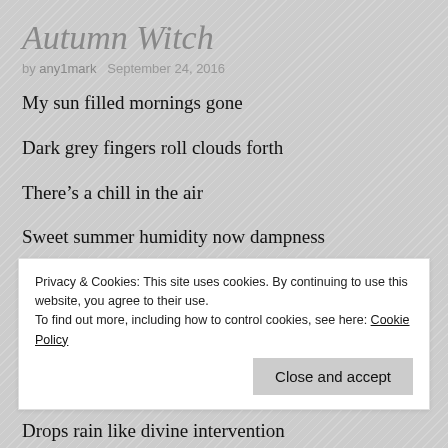Autumn Witch
by any1mark   September 24, 2016
My sun filled mornings gone
Dark grey fingers roll clouds forth
There’s a chill in the air
Sweet summer humidity now dampness
Big fluffy white now slate flat blankets
Privacy & Cookies: This site uses cookies. By continuing to use this website, you agree to their use.
To find out more, including how to control cookies, see here: Cookie Policy
Drops rain like divine intervention